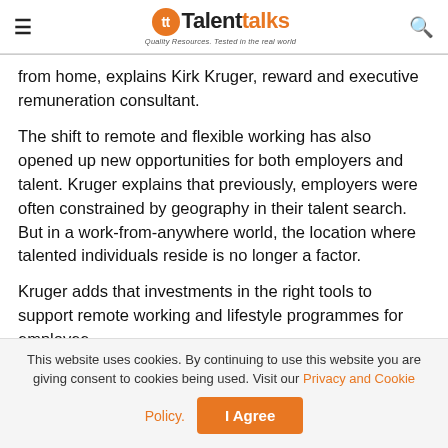≡  TalentTalks – Quality Resources. Tested in the real world  🔍
from home, explains Kirk Kruger, reward and executive remuneration consultant.
The shift to remote and flexible working has also opened up new opportunities for both employers and talent. Kruger explains that previously, employers were often constrained by geography in their talent search. But in a work-from-anywhere world, the location where talented individuals reside is no longer a factor.
Kruger adds that investments in the right tools to support remote working and lifestyle programmes for employee
This website uses cookies. By continuing to use this website you are giving consent to cookies being used. Visit our Privacy and Cookie Policy.
I Agree